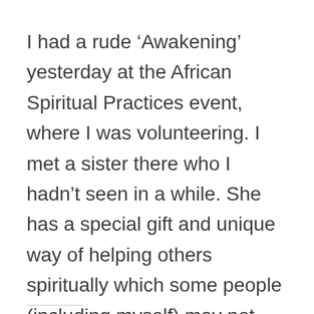I had a rude ‘Awakening’ yesterday at the African Spiritual Practices event, where I was volunteering. I met a sister there who I hadn’t seen in a while. She has a special gift and unique way of helping others spiritually which some people (including myself) may not fully innerstand. During a Chi’gong session, people were … Continue reading